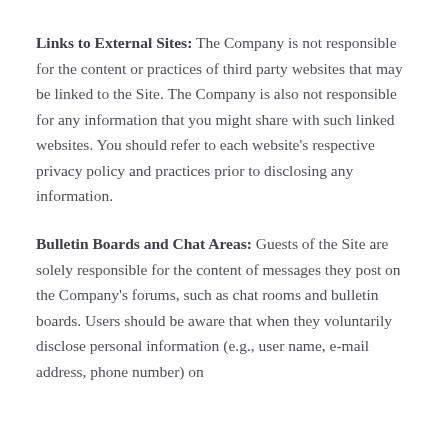Links to External Sites: The Company is not responsible for the content or practices of third party websites that may be linked to the Site. The Company is also not responsible for any information that you might share with such linked websites. You should refer to each website's respective privacy policy and practices prior to disclosing any information.
Bulletin Boards and Chat Areas: Guests of the Site are solely responsible for the content of messages they post on the Company's forums, such as chat rooms and bulletin boards. Users should be aware that when they voluntarily disclose personal information (e.g., user name, e-mail address, phone number) on